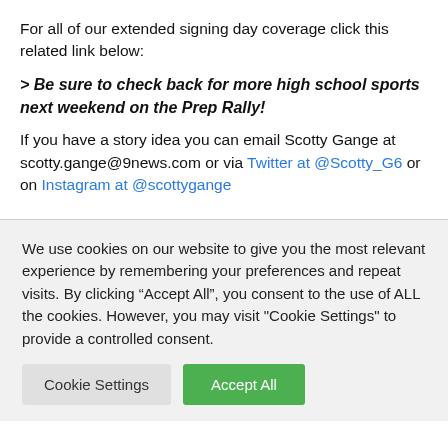For all of our extended signing day coverage click this related link below:
> Be sure to check back for more high school sports next weekend on the Prep Rally!
If you have a story idea you can email Scotty Gange at scotty.gange@9news.com or via Twitter at @Scotty_G6 or on Instagram at @scottygange
We use cookies on our website to give you the most relevant experience by remembering your preferences and repeat visits. By clicking “Accept All”, you consent to the use of ALL the cookies. However, you may visit "Cookie Settings" to provide a controlled consent.